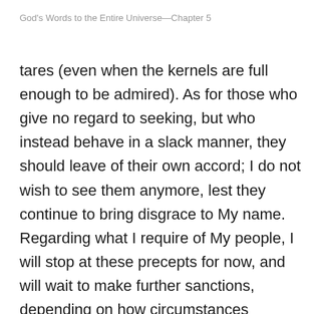God's Words to the Entire Universe—Chapter 5
tares (even when the kernels are full enough to be admired). As for those who give no regard to seeking, but who instead behave in a slack manner, they should leave of their own accord; I do not wish to see them anymore, lest they continue to bring disgrace to My name. Regarding what I require of My people, I will stop at these precepts for now, and will wait to make further sanctions, depending on how circumstances change.

In days past, the great majority of people thought I was the God Himself of wisdom, that I was the very God who saw deep into the hearts of humans;